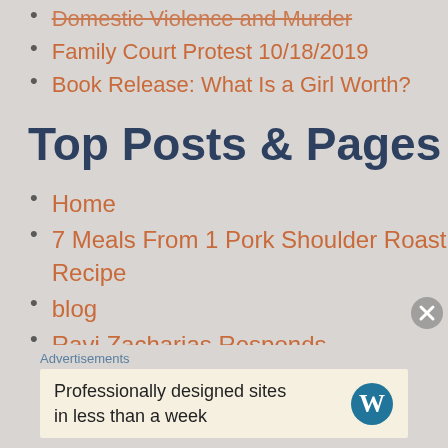Domestic Violence and Murder
Family Court Protest 10/18/2019
Book Release: What Is a Girl Worth?
Top Posts & Pages
Home
7 Meals From 1 Pork Shoulder Roast Recipe
blog
Ravi Zacharias Responds
about
Back After 2 Years
GIVEAWAY
Advertisements
Professionally designed sites in less than a week